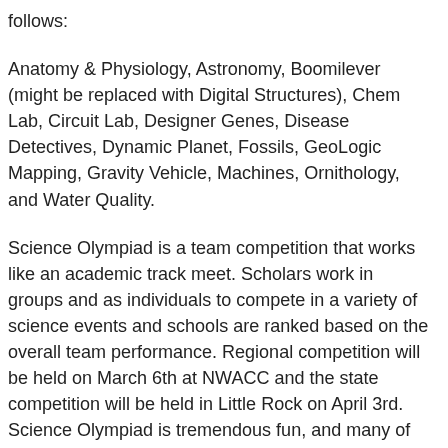follows:
Anatomy & Physiology, Astronomy, Boomilever (might be replaced with Digital Structures), Chem Lab, Circuit Lab, Designer Genes, Disease Detectives, Dynamic Planet, Fossils, GeoLogic Mapping, Gravity Vehicle, Machines, Ornithology, and Water Quality.
Science Olympiad is a team competition that works like an academic track meet. Scholars work in groups and as individuals to compete in a variety of science events and schools are ranked based on the overall team performance. Regional competition will be held on March 6th at NWACC and the state competition will be held in Little Rock on April 3rd. Science Olympiad is tremendous fun, and many of